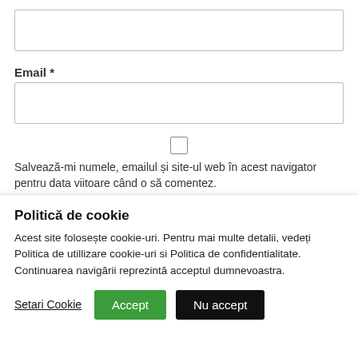[Figure (screenshot): Top input field (empty text box)]
Email *
[Figure (screenshot): Email input field (empty text box)]
[Figure (screenshot): Checkbox (unchecked)]
Salvează-mi numele, emailul și site-ul web în acest navigator pentru data viitoare când o să comentez.
Politică de cookie
Acest site folosește cookie-uri. Pentru mai multe detalii, vedeți Politica de utillizare cookie-uri si Politica de confidentialitate. Continuarea navigării reprezintă acceptul dumnevoastra.
Setari Cookie   Accept   Nu accept